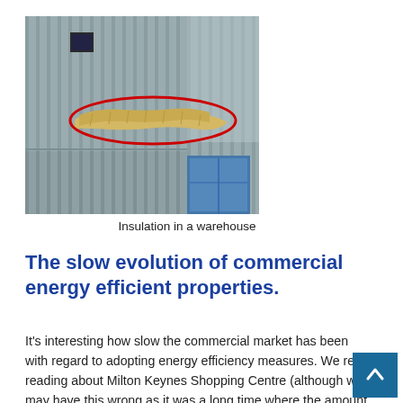[Figure (photo): Photograph of insulation material protruding from the exterior wall of a warehouse/industrial building. The insulation (yellow/cream coloured foam or mineral wool) is circled with a red oval to highlight the area of interest. The building has grey corrugated metal cladding and a blue door is partially visible at the bottom right.]
Insulation in a warehouse
The slow evolution of commercial energy efficient properties.
It's interesting how slow the commercial market has been with regard to adopting energy efficiency measures. We recall reading about Milton Keynes Shopping Centre (although we may have this wrong as it was a long time where the amount of glazing used was such that they used the